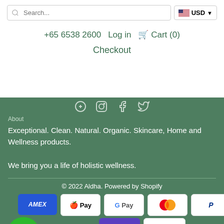Search... | USD | +65 6538 2600 | Log in | Cart (0) | Checkout
Exceptional. Clean. Natural. Organic. Skincare, Home and Wellness products.

We bring you a life of holistic wellness.
About
© 2022 Aldha. Powered by Shopify
[Figure (logo): Payment method icons: American Express, Apple Pay, Google Pay, Mastercard, PayPal, Shop Pay (Shopify), Visa]